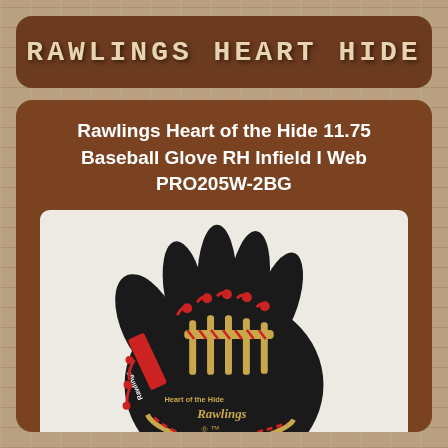RAWLINGS HEART HIDE
Rawlings Heart of the Hide 11.75 Baseball Glove RH Infield I Web PRO205W-2BG
[Figure (photo): Rawlings Heart of the Hide baseball glove PRO205W-2BG, black leather with red and gold lacing, displayed on white background with ebay watermark]